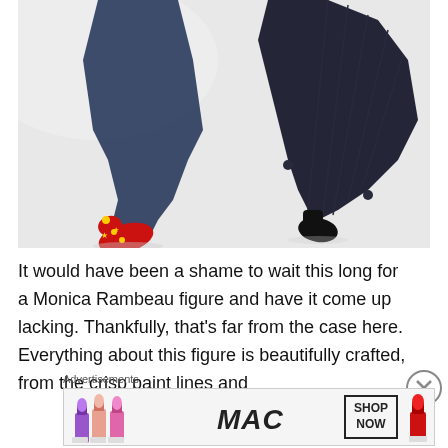[Figure (photo): Close-up photo of action figures in motion — one wearing a dark navy/blue costume with a red boot/shoe, another in a dark black pleated skirt-like costume, both posed as if running or flying against a light gray background.]
It would have been a shame to wait this long for a Monica Rambeau figure and have it come up lacking. Thankfully, that's far from the case here. Everything about this figure is beautifully crafted, from the crisp paint lines and
Advertisements
[Figure (photo): MAC cosmetics advertisement banner showing colorful lipsticks on the left, MAC logo text in center-left, a 'SHOP NOW' button box, and a red lipstick on the right.]